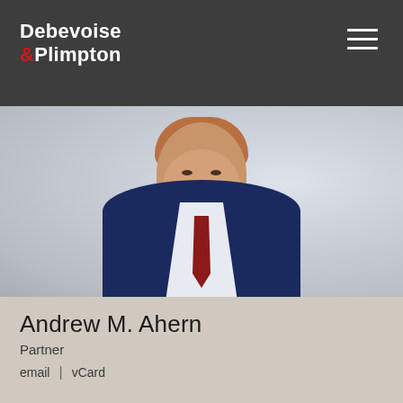Debevoise & Plimpton
[Figure (photo): Professional headshot of Andrew M. Ahern, a man with reddish-brown hair and beard, wearing a navy blue suit with a red tie, smiling against a blurred city background.]
Andrew M. Ahern
Partner
email | vCard